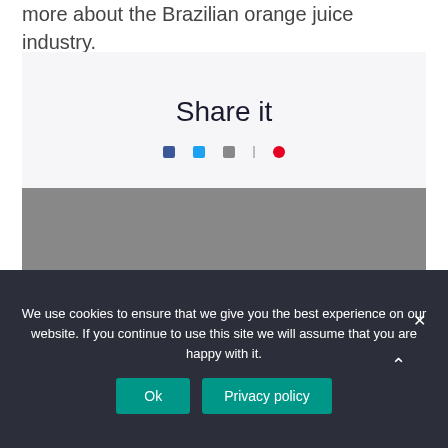more about the Brazilian orange juice industry.
Share it
[Figure (other): Social share icons: Facebook, Twitter, LinkedIn, divider, Pinterest]
Archives
+ August 2022
We use cookies to ensure that we give you the best experience on our website. If you continue to use this site we will assume that you are happy with it.
Ok  Privacy policy